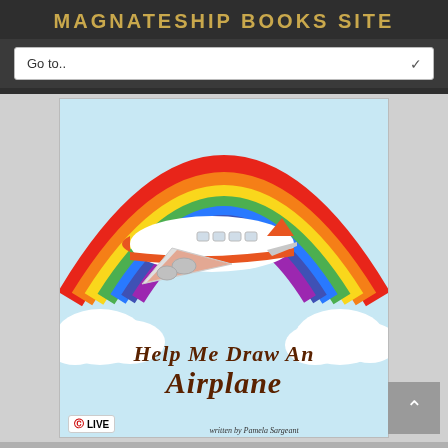MAGNATESHIP BOOKS SITE
Go to..
[Figure (illustration): Book cover for 'Help Me Draw An Airplane' showing a colorful rainbow in the sky with clouds, and a cartoon orange and white airplane flying through the rainbow arc. Text reads 'Help Me Draw An Airplane' in brown stylized font. Bottom shows 'LIVE' logo and partial author name.]